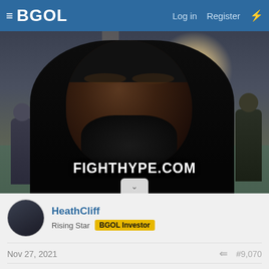BGOL  Log in  Register
[Figure (photo): A man with a thick beard and black knit hat being interviewed indoors, likely at an event venue. Watermark text reads FIGHTHYPE.COM at the bottom. Background shows people in a lobby/arena setting.]
HeathCliff
Rising Star  BGOL Investor
Nov 27, 2021  #9,070
Some good fights on tonight. I been waiting on this one for long time 😊